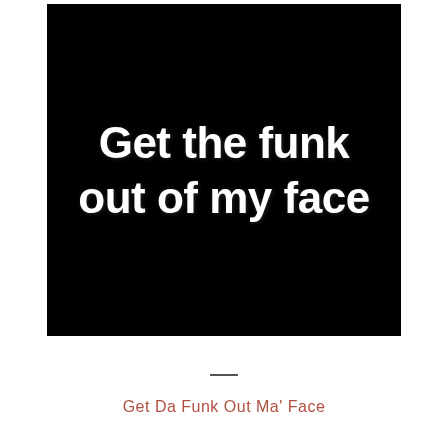[Figure (illustration): Black background image with large white bold text reading 'Get the funk out of my face']
Get Da Funk Out Ma' Face